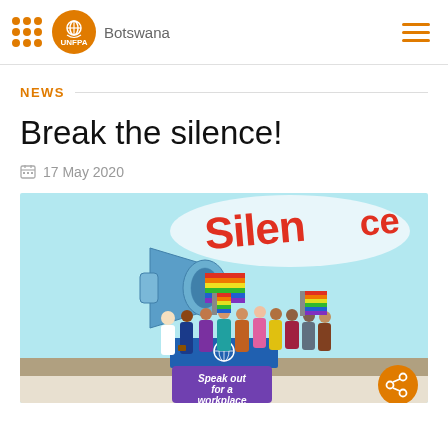UNFPA Botswana
NEWS
Break the silence!
17 May 2020
[Figure (illustration): Colorful illustration of diverse people gathered holding a UN banner and rainbow flags, with a megaphone and 'Silence' text in red being broken. A purple sign at the bottom reads 'Speak out for a workplace'. Share button in bottom right corner.]